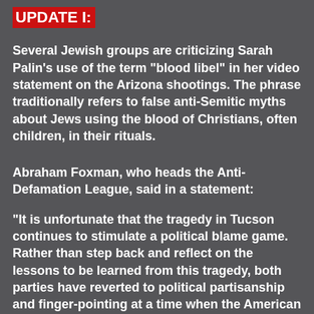UPDATE I:
Several Jewish groups are criticizing Sarah Palin's use of the term "blood libel" in her video statement on the Arizona shootings. The phrase traditionally refers to false anti-Semitic myths about Jews using the blood of Christians, often children, in their rituals.
Abraham Foxman, who heads the Anti-Defamation League, said in a statement:
"It is unfortunate that the tragedy in Tucson continues to stimulate a political blame game. Rather than step back and reflect on the lessons to be learned from this tragedy, both parties have reverted to political partisanship and finger-pointing at a time when the American people are